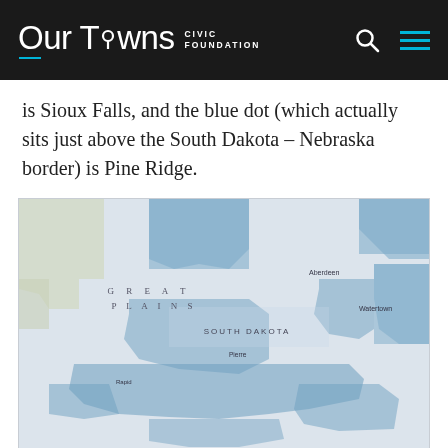Our Towns CIVIC FOUNDATION
is Sioux Falls, and the blue dot (which actually sits just above the South Dakota – Nebraska border) is Pine Ridge.
[Figure (map): Map of South Dakota region showing Great Plains area with shaded counties/districts in blue. A green dot marks Sioux Falls near the eastern border, and a blue dot marks Pine Ridge in the southwestern part of the state near the South Dakota–Nebraska border. Labels include Aberdeen, Watertown, Pierre, Pierre-Gettysburg area, Rapid City, Buffalo Nat'l Park, Badlands National Park, South Dakota, Missouri, and Sioux City.]